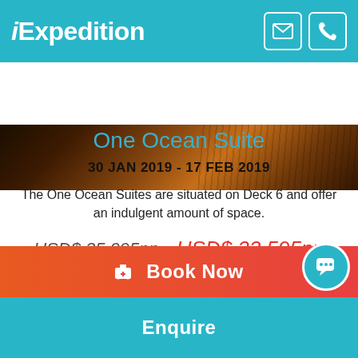iExpedition
[Figure (photo): Dark warm-toned photograph showing a textured surface, partially visible at the top of the page]
One Ocean Suite
30 JAN 2019 - 17 FEB 2019
The One Ocean Suites are situated on Deck 6 and offer an indulgent amount of space.
USD$ 35,095pp  USD$ 33,595pp
Book Now
Enquire